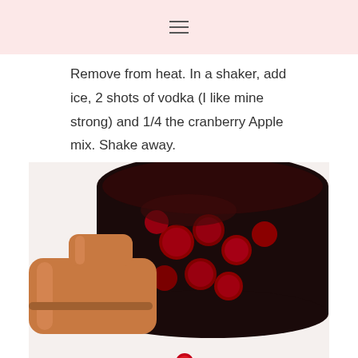Remove from heat. In a shaker, add ice, 2 shots of vodka (I like mine strong) and 1/4 the cranberry Apple mix. Shake away.
[Figure (photo): A rose gold cocktail shaker lying on its side next to a dark bowl filled with deep red cranberry mixture and ice, with fresh red cranberries scattered on a white surface nearby.]